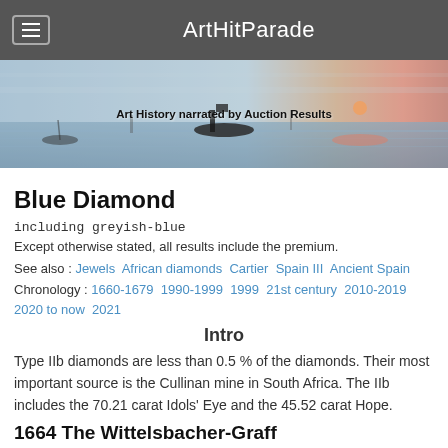ArtHitParade
[Figure (photo): Banner image of a impressionist painting (Monet-style harbor scene with boats and orange-blue sky) with overlaid text 'Art History narrated by Auction Results']
Blue Diamond
including greyish-blue
Except otherwise stated, all results include the premium.
See also : Jewels  African diamonds  Cartier  Spain III  Ancient Spain
Chronology : 1660-1679  1990-1999  1999  21st century  2010-2019  2020 to now  2021
Intro
Type IIb diamonds are less than 0.5 % of the diamonds. Their most important source is the Cullinan mine in South Africa. The IIb includes the 70.21 carat Idols' Eye and the 45.52 carat Hope.
1664 The Wittelsbacher-Graff 2008 SOLD for £ 16.4M by Christie's